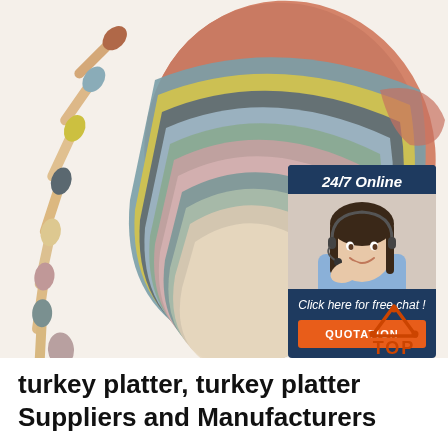[Figure (photo): Product photo showing colorful silicone baby bibs fanned out in multiple colors (terracotta, teal, yellow, grey, pink, sage, beige) and wooden baby spoons with silicone tips in matching colors arranged on a white background. A 24/7 online chat widget overlay appears in the upper right showing a smiling female customer service agent with headset, with 'Click here for free chat!' text and an orange QUOTATION button.]
[Figure (logo): TOP logo with orange triangle/arrow icon and orange text 'TOP']
turkey platter, turkey platter Suppliers and Manufacturers